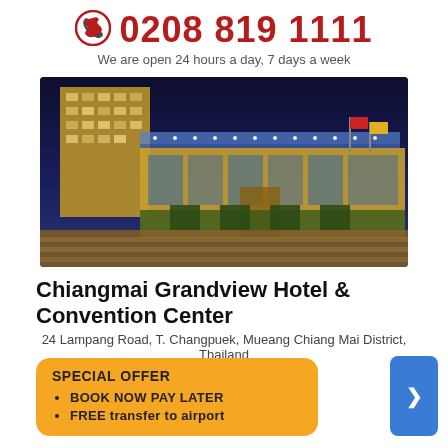0208 819 1111
We are open 24 hours a day, 7 days a week
[Figure (photo): Night-time exterior photo of Chiangmai Grandview Hotel & Convention Center showing illuminated facade, glass canopy entrance, and landscaped grounds]
Chiangmai Grandview Hotel & Convention Center
24 Lampang Road, T. Changpuek, Mueang Chiang Mai District, Thailand
★★★★
Bed and Breakfast
Duration: 7 Nights
SPECIAL OFFER
• BOOK NOW PAY LATER
• FREE transfer to airport